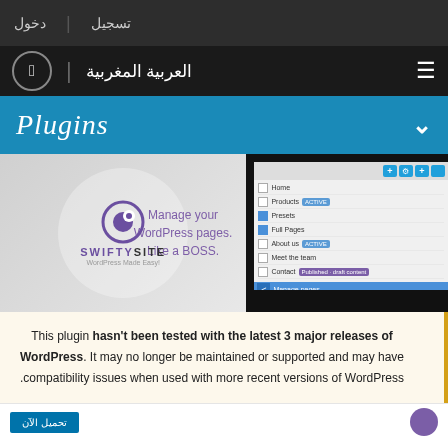تسجيل  دخول
العربية المغربية | WordPress
Plugins
[Figure (screenshot): SwiftySite plugin promotional screenshot showing logo, 'Manage your WordPress pages. Like a BOSS.' tagline, and a dark monitor mockup with a page management UI]
This plugin hasn't been tested with the latest 3 major releases of WordPress. It may no longer be maintained or supported and may have compatibility issues when used with more recent versions of WordPress.